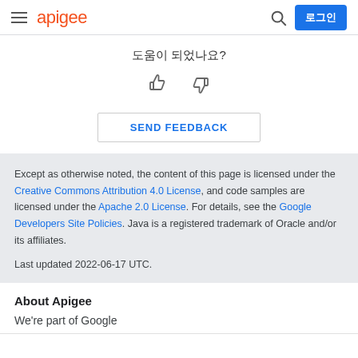apigee | 로그인
도움이 되었나요?
[Figure (other): Thumbs up and thumbs down icons for feedback]
SEND FEEDBACK
Except as otherwise noted, the content of this page is licensed under the Creative Commons Attribution 4.0 License, and code samples are licensed under the Apache 2.0 License. For details, see the Google Developers Site Policies. Java is a registered trademark of Oracle and/or its affiliates.
Last updated 2022-06-17 UTC.
About Apigee
We're part of Google